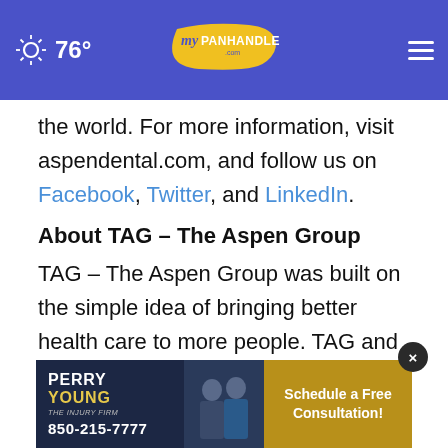76° myPanhandle.com
the world. For more information, visit aspendental.com, and follow us on Facebook, Twitter, and LinkedIn.
About TAG – The Aspen Group
TAG – The Aspen Group was built on the simple idea of bringing better health care to more people. TAG and the independent health care practices it supports operate more than 1,100 locations in 45 states through its four health care s
[Figure (photo): Perry Young – The Injury Firm advertisement: 850-215-7777, Schedule a Free Consultation!]